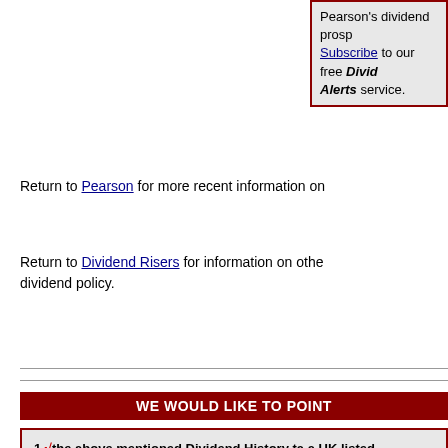Subscribe to our free Dividend Alerts service.
Return to Pearson for more recent information on
Return to Dividend Risers for information on other dividend policy.
WE WOULD LIKE TO POINT
1. the above mentioned Dividend History ta a UK listed company's dividend history and share recommendation. Neither Early Retire Publishing are registered as an investment independent financial advisor and do not pr
2. the price of shares and investments and the can go down as well as up, and investors may invested
3. where the information consists of pricing or contained therein has been obtained from com reporting services, periodicals, and other sourc